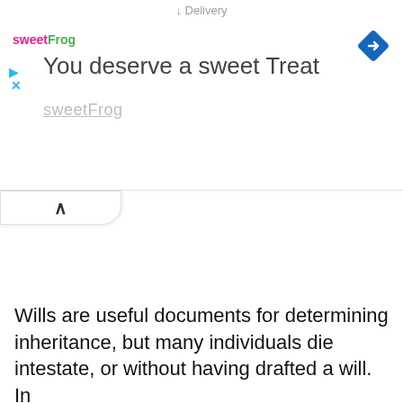Delivery
[Figure (screenshot): SweetFrog advertisement banner with logo, navigation arrow icon, play and close buttons, headline 'You deserve a sweet Treat', and partially visible subtext 'sweetFrog']
Wills are useful documents for determining inheritance, but many individuals die intestate, or without having drafted a will. In